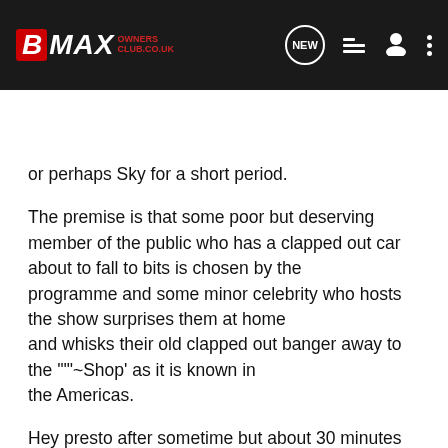[Figure (screenshot): B-MAX Owners Club navigation bar with logo, NEW button, list icon, user icon, and dots menu icon]
[Figure (screenshot): Search Community search bar with magnifying glass icon]
or perhaps Sky for a short period.
The premise is that some poor but deserving member of the public who has a clapped out car about to fall to bits is chosen by the programme and some minor celebrity who hosts the show surprises them at home and whisks their old clapped out banger away to the '""~Shop' as it is known in the Americas.
Hey presto after sometime but about 30 minutes on the television the poor but deserving soul is reunited with their motor to find virtually a